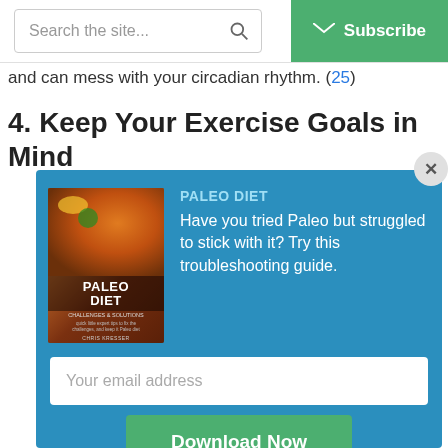Search the site... | Subscribe
and can mess with your circadian rhythm. (25)
4. Keep Your Exercise Goals in Mind
[Figure (screenshot): Modal popup with blue background showing a Paleo Diet book cover on the left, promotional text 'PALEO DIET Have you tried Paleo but struggled to stick with it? Try this troubleshooting guide.' on the right, an email address input field, and a green Download Now button. A close (X) button is in the top right corner.]